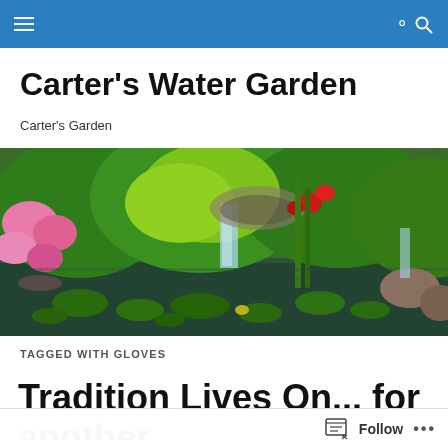Navigation bar with menu and search icons
Carter's Water Garden
Carter's Garden
[Figure (photo): A beautiful water garden with lily pads, pink flowers, green plants, red blooms, and a small waterfall reflected in the pond water]
TAGGED WITH GLOVES
Tradition Lives On... for another...
Follow   ...